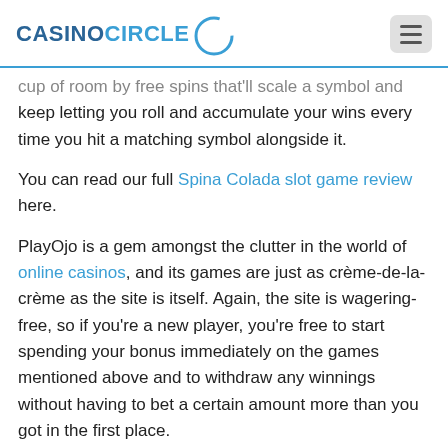CASINOCIRCLE
cup of room by free spins that'll scale a symbol and keep letting you roll and accumulate your wins every time you hit a matching symbol alongside it.
You can read our full Spina Colada slot game review here.
PlayOjo is a gem amongst the clutter in the world of online casinos, and its games are just as crème-de-la-crème as the site is itself. Again, the site is wagering-free, so if you're a new player, you're free to start spending your bonus immediately on the games mentioned above and to withdraw any winnings without having to bet a certain amount more than you got in the first place.
Whether you want to rape and pillage like a Viking, slurp on some juicy cocktails, or be some kind of